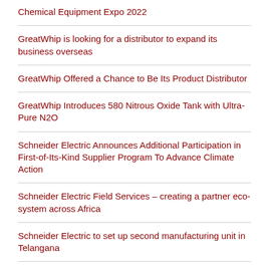Chemical Equipment Expo 2022
GreatWhip is looking for a distributor to expand its business overseas
GreatWhip Offered a Chance to Be Its Product Distributor
GreatWhip Introduces 580 Nitrous Oxide Tank with Ultra-Pure N2O
Schneider Electric Announces Additional Participation in First-of-Its-Kind Supplier Program To Advance Climate Action
Schneider Electric Field Services – creating a partner eco-system across Africa
Schneider Electric to set up second manufacturing unit in Telangana
Impact Windows of Cape Coral Launches Newly Redesigned Website